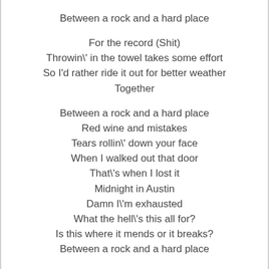Between a rock and a hard place
For the record (Shit)
Throwin\' in the towel takes some effort
So I'd rather ride it out for better weather
Together
Between a rock and a hard place
Red wine and mistakes
Tears rollin\' down your face
When I walked out that door
That\'s when I lost it
Midnight in Austin
Damn I\'m exhausted
What the hell\'s this all for?
Is this where it mends or it breaks?
Between a rock and a hard place
We\'ve been talking \'bout forever since we been together
Something \'bout a ring, makes you think we\'re